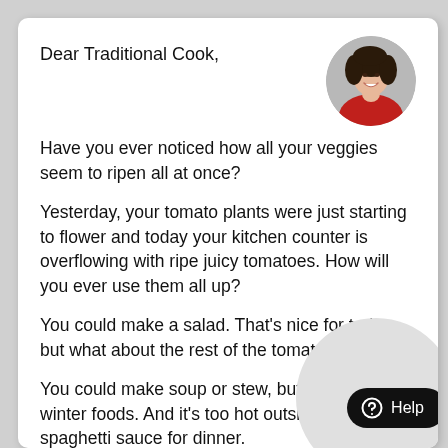Dear Traditional Cook,
Have you ever noticed how all your veggies seem to ripen all at once?
[Figure (photo): Circular portrait photo of a smiling woman with curly dark hair wearing a red jacket, against a light grey background.]
Yesterday, your tomato plants were just starting to flower and today your kitchen counter is overflowing with ripe juicy tomatoes. How will you ever use them all up?
You could make a salad. That’s nice for today, but what about the rest of the tomatoes?
You could make soup or stew, but those are all winter foods. And it’s too hot outside to s... spaghetti sauce for dinner.